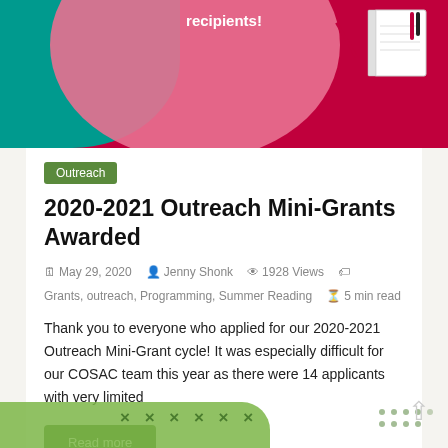[Figure (illustration): Top banner with red/pink background, teal shape, pink circle, text 'recipients!' and a notebook illustration]
Outreach
2020-2021 Outreach Mini-Grants Awarded
May 29, 2020  Jenny Shonk  1928 Views  Grants, outreach, Programming, Summer Reading  5 min read
Thank you to everyone who applied for our 2020-2021 Outreach Mini-Grant cycle! It was especially difficult for our COSAC team this year as there were 14 applicants with very limited
Read more
[Figure (illustration): Bottom banner with green painted brush stroke, X marks pattern, and dot decorations]